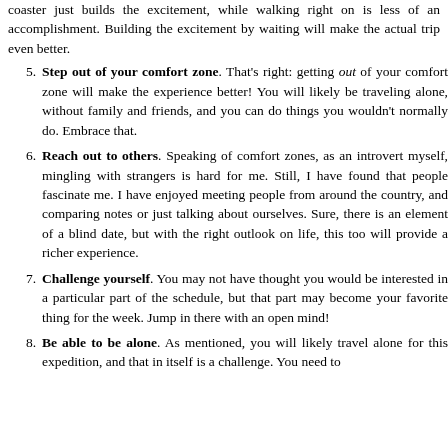coaster just builds the excitement, while walking right on is less of an accomplishment. Building the excitement by waiting will make the actual trip even better.
5. Step out of your comfort zone. That's right: getting out of your comfort zone will make the experience better! You will likely be traveling alone, without family and friends, and you can do things you wouldn't normally do. Embrace that.
6. Reach out to others. Speaking of comfort zones, as an introvert myself, mingling with strangers is hard for me. Still, I have found that people fascinate me. I have enjoyed meeting people from around the country, and comparing notes or just talking about ourselves. Sure, there is an element of a blind date, but with the right outlook on life, this too will provide a richer experience.
7. Challenge yourself. You may not have thought you would be interested in a particular part of the schedule, but that part may become your favorite thing for the week. Jump in there with an open mind!
8. Be able to be alone. As mentioned, you will likely travel alone for this expedition, and that in itself is a challenge. You need to